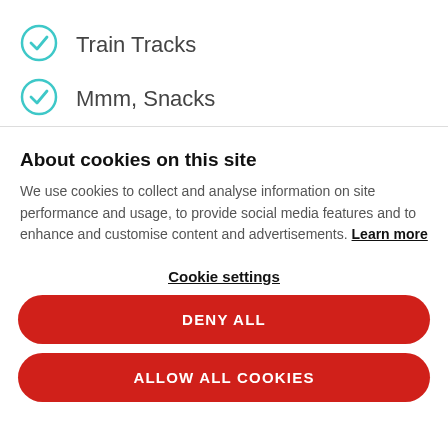Train Tracks
Mmm, Snacks
About cookies on this site
We use cookies to collect and analyse information on site performance and usage, to provide social media features and to enhance and customise content and advertisements. Learn more
Cookie settings
DENY ALL
ALLOW ALL COOKIES